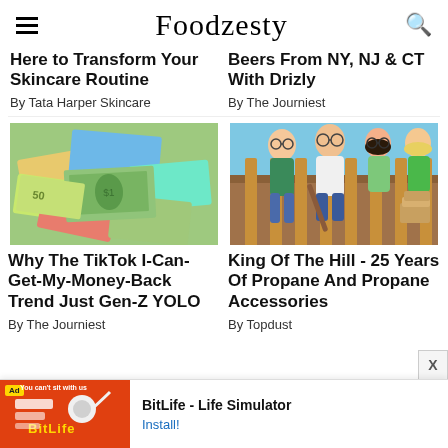Foodzesty
Here to Transform Your Skincare Routine
By Tata Harper Skincare
Beers From NY, NJ & CT With Drizly
By The Journiest
[Figure (photo): Pile of international currency banknotes spread out]
[Figure (photo): King of the Hill cartoon characters standing outdoors]
Why The TikTok I-Can-Get-My-Money-Back Trend Just Gen-Z YOLO
By The Journiest
King Of The Hill - 25 Years Of Propane And Propane Accessories
By Topdust
[Figure (photo): Ad banner for BitLife - Life Simulator app]